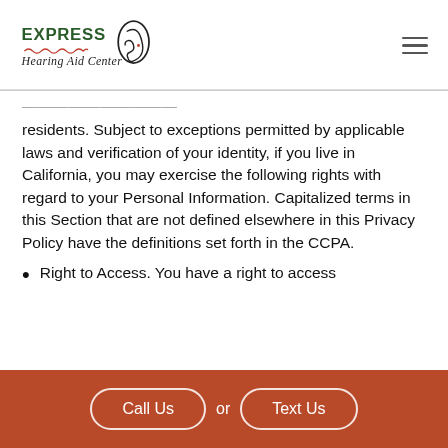Express Hearing Aid Center
residents. Subject to exceptions permitted by applicable laws and verification of your identity, if you live in California, you may exercise the following rights with regard to your Personal Information. Capitalized terms in this Section that are not defined elsewhere in this Privacy Policy have the definitions set forth in the CCPA.
Right to Access. You have a right to access
Call Us or Text Us